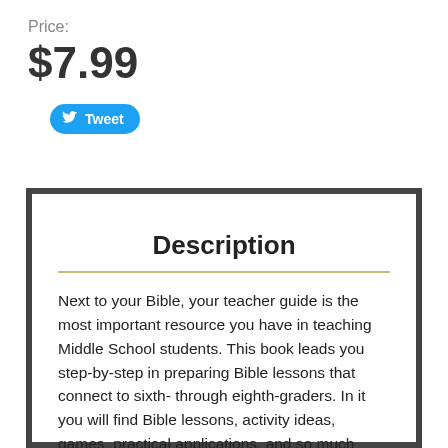Price:
$7.99
[Figure (other): Twitter Tweet button with bird icon]
Description
Next to your Bible, your teacher guide is the most important resource you have in teaching Middle School students. This book leads you step-by-step in preparing Bible lessons that connect to sixth- through eighth-graders. In it you will find Bible lessons, activity ideas, games, practical applications, and so much more. A unique feature of this guide, and of all the Strong Curriculum® teacher guides, is that every lesson has an intentional focus on spiritual growth and